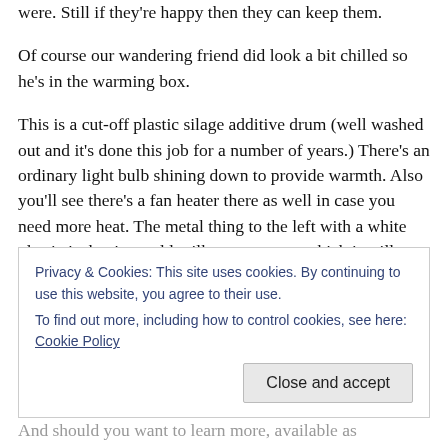were. Still if they're happy then they can keep them.
Of course our wandering friend did look a bit chilled so he's in the warming box.
This is a cut-off plastic silage additive drum (well washed out and it's done this job for a number of years.) There's an ordinary light bulb shining down to provide warmth. Also you'll see there's a fan heater there as well in case you need more heat. The metal thing to the left with a white plastic jacket is an old milk pump motor which is still there from when we milked back in the 1990s. As you can
Privacy & Cookies: This site uses cookies. By continuing to use this website, you agree to their use.
To find out more, including how to control cookies, see here: Cookie Policy
Close and accept
And should you want to learn more, available as